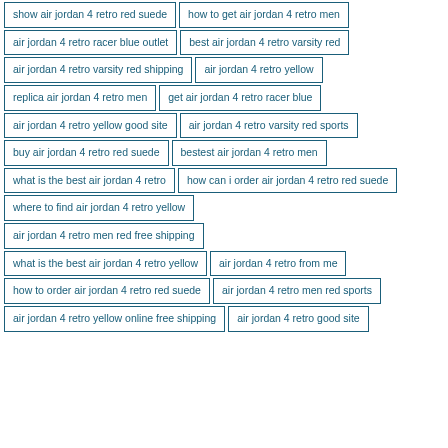show air jordan 4 retro red suede
how to get air jordan 4 retro men
air jordan 4 retro racer blue outlet
best air jordan 4 retro varsity red
air jordan 4 retro varsity red shipping
air jordan 4 retro yellow
replica air jordan 4 retro men
get air jordan 4 retro racer blue
air jordan 4 retro yellow good site
air jordan 4 retro varsity red sports
buy air jordan 4 retro red suede
bestest air jordan 4 retro men
what is the best air jordan 4 retro
how can i order air jordan 4 retro red suede
where to find air jordan 4 retro yellow
air jordan 4 retro men red free shipping
what is the best air jordan 4 retro yellow
air jordan 4 retro from me
how to order air jordan 4 retro red suede
air jordan 4 retro men red sports
air jordan 4 retro yellow online free shipping
air jordan 4 retro good site